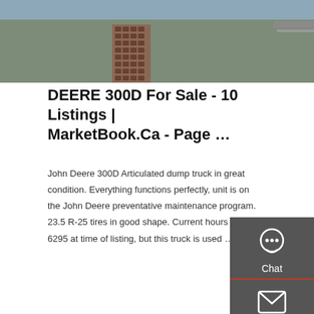[Figure (photo): Top portion of a road/path with paved surface and water visible in background]
DEERE 300D For Sale - 10 Listings | MarketBook.Ca - Page …
John Deere 300D Articulated dump truck in great condition. Everything functions perfectly, unit is on the John Deere preventative maintenance program. 23.5 R-25 tires in good shape. Current hours are 6295 at time of listing, but this truck is used …
[Figure (screenshot): Screenshot of MarketBook.ca website sidebar with Chat, Email, Contact, and Top navigation icons on dark grey background]
[Figure (photo): Bottom photo showing dump trucks parked with trees in background]